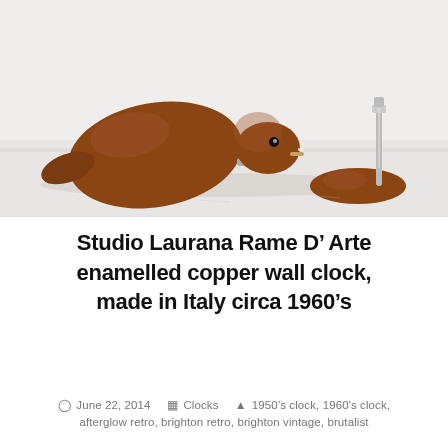[Figure (photo): Wooden decorative duck figurine made from polished walnut-colored wood, photographed on a white surface. The duck has a large teardrop-shaped body, a small head with glass eyes, and a separate oval base with a metal pin/key element.]
Studio Laurana Rame D' Arte enamelled copper wall clock, made in Italy circa 1960's
June 22, 2014   Clocks   1950's clock, 1960's clock, afterglow retro, brighton retro, brighton vintage, brutalist